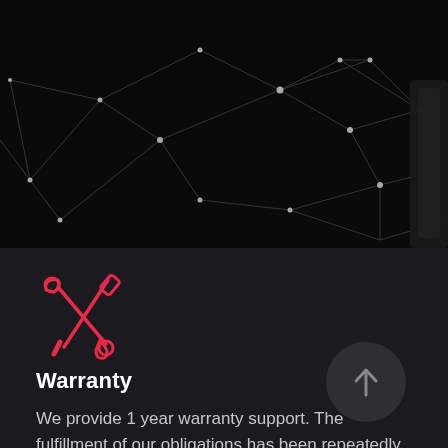[Figure (illustration): Dark background abstract network/polygon wireframe graphic with connected nodes and lines in gray/white on black, with a partial view of a dark metallic object on the right edge.]
[Figure (illustration): Red/pink crossed wrench and screwdriver tools icon on dark background.]
Warranty
We provide 1 year warranty support. The fulfillment of our obligations has been repeatedly